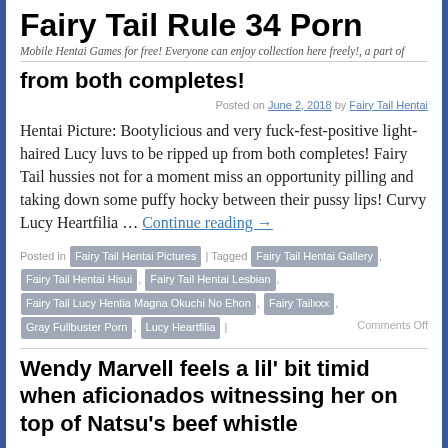Fairy Tail Rule 34 Porn
Mobile Hentai Games for free! Everyone can enjoy collection here freely!, a part of
from both completes!
Posted on June 2, 2018 by Fairy Tail Hentai
Hentai Picture: Bootylicious and very fuck-fest-positive light-haired Lucy luvs to be ripped up from both completes! Fairy Tail hussies not for a moment miss an opportunity pilling and taking down some puffy hocky between their pussy lips! Curvy Lucy Heartfilia … Continue reading →
Posted in Fairy Tail Hentai Pictures | Tagged Fairy Tail Hentai Gallery, Fairy Tail Hentai Hisui, Fairy Tail Hentai Lesbian, Fairy Tail Lucy Hentia Magna Okuchi No Ehon, Fairy Tailxxx, Gray Fullbuster Porn, Lucy Heartfilia | Comments Off
Wendy Marvell feels a lil' bit timid when aficionados witnessing her on top of Natsu's beef whistle